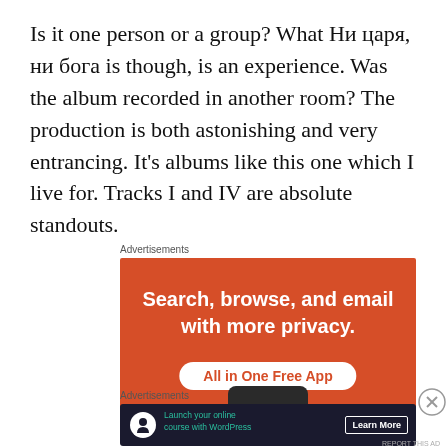Is it one person or a group? What Ни царя, ни бога is though, is an experience. Was the album recorded in another room? The production is both astonishing and very entrancing. It's albums like this one which I live for. Tracks I and IV are absolute standouts.
Advertisements
[Figure (illustration): Orange advertisement banner: 'Search, browse, and email with more privacy. All in One Free App' with a white pill-shaped button and partial phone image at bottom.]
Advertisements
[Figure (illustration): Dark navy advertisement banner: 'Launch your online course with WordPress' with teal text and Learn More button.]